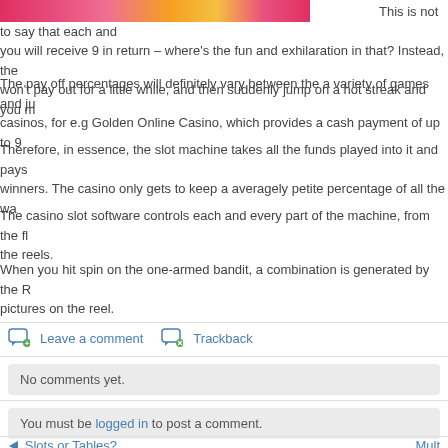[Figure (photo): Colorful casino/slot machine themed banner image cropped at top, pink and orange colors]
This is not to say that each and you will receive 9 in return – where's the fun and exhilaration in that? Instead, the won't pay out for a little while, and then suddenly jump on a hot streak and you m
The pay off percentages will definitely vary between the a variety of games and ju casinos, for e.g Golden Online Casino, which provides a cash payment of up to 9
Therefore, in essence, the slot machine takes all the funds played into it and pays winners. The casino only gets to keep a averagely petite percentage of all the wa
The casino slot software controls each and every part of the machine, from the fl the reels.
When you hit spin on the one-armed bandit, a combination is generated by the R pictures on the reel.
Leave a comment   Trackback
No comments yet.
You must be logged in to post a comment.
Slots or Tables?    Mult